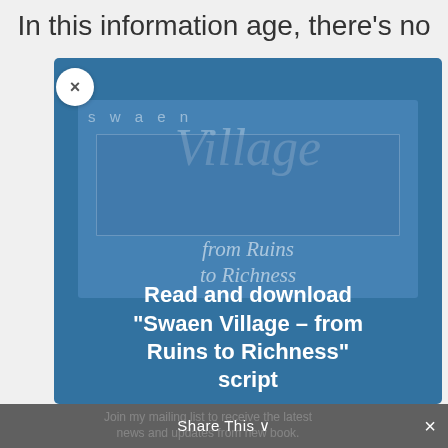In this information age, there's no
[Figure (screenshot): A modal popup overlay on a blue background showing a book cover image for 'Swaen Village – from Ruins to Richness' with a call-to-action to read and download the script. There is a close (×) button in the top-left corner of the modal.]
Read and download "Swaen Village – from Ruins to Richness" script
Join my mailing list to receive the latest news and updates from new book.
Share This ∨